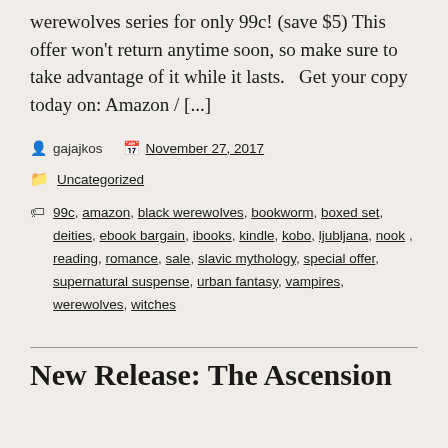werewolves series for only 99c! (save $5) This offer won't return anytime soon, so make sure to take advantage of it while it lasts.   Get your copy today on: Amazon / [...]
gajajkos   November 27, 2017
Uncategorized
99c, amazon, black werewolves, bookworm, boxed set, deities, ebook bargain, ibooks, kindle, kobo, ljubljana, nook, reading, romance, sale, slavic mythology, special offer, supernatural suspense, urban fantasy, vampires, werewolves, witches
New Release: The Ascension